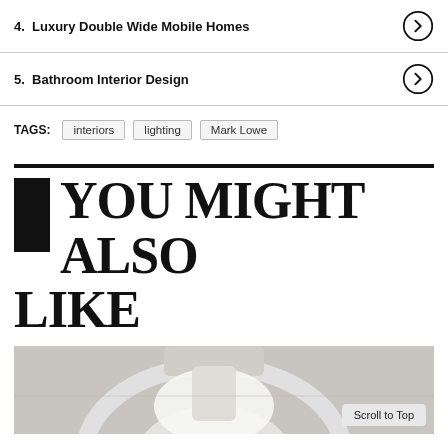4.  Luxury Double Wide Mobile Homes
5.  Bathroom Interior Design
TAGS:  interiors  lighting  Mark Lowe
YOU MIGHT ALSO LIKE
[Figure (photo): Interior photo showing a lamp or light fixture, with a 'Scroll to Top' button overlay.]